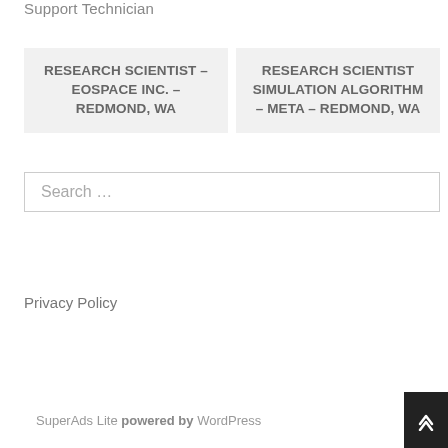Support Technician
RESEARCH SCIENTIST – EOSPACE INC. – REDMOND, WA
RESEARCH SCIENTIST SIMULATION ALGORITHM – META – REDMOND, WA
Search …
Privacy Policy
SuperAds Lite powered by WordPress